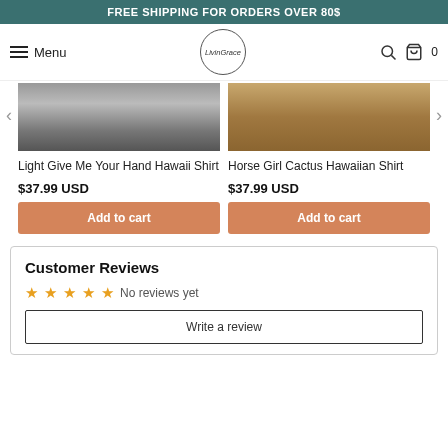FREE SHIPPING FOR ORDERS OVER 80$
Menu | LivinGrace logo | search | cart 0
[Figure (photo): Product image for Light Give Me Your Hand Hawaii Shirt - grayscale photo]
Light Give Me Your Hand Hawaii Shirt
$37.99 USD
Add to cart
[Figure (photo): Product image for Horse Girl Cactus Hawaiian Shirt - warm brown tones photo]
Horse Girl Cactus Hawaiian Shirt
$37.99 USD
Add to cart
Customer Reviews
☆☆☆☆☆ No reviews yet
Write a review